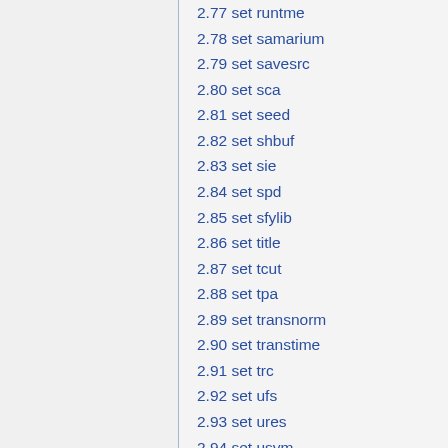2.77 set runtme
2.78 set samarium
2.79 set savesrc
2.80 set sca
2.81 set seed
2.82 set shbuf
2.83 set sie
2.84 set spd
2.85 set sfylib
2.86 set title
2.87 set tcut
2.88 set tpa
2.89 set transnorm
2.90 set transtime
2.91 set trc
2.92 set ufs
2.93 set ures
2.94 set usym
2.95 set U235H
2.96 set xenon